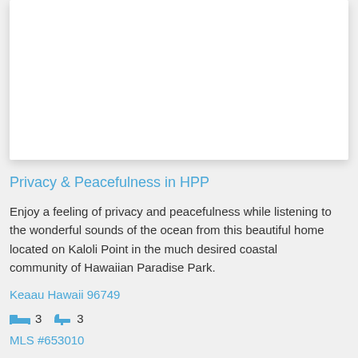[Figure (photo): Property photo placeholder - white card/image area for a home in Hawaiian Paradise Park]
Privacy & Peacefulness in HPP
Enjoy a feeling of privacy and peacefulness while listening to the wonderful sounds of the ocean from this beautiful home located on Kaloli Point in the much desired coastal community of Hawaiian Paradise Park.
Keaau Hawaii 96749
3  3
MLS #653010